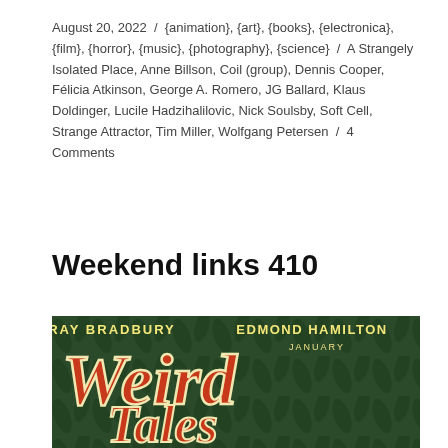August 20, 2022 / {animation}, {art}, {books}, {electronica}, {film}, {horror}, {music}, {photography}, {science} / A Strangely Isolated Place, Anne Billson, Coil (group), Dennis Cooper, Félicia Atkinson, George A. Romero, JG Ballard, Klaus Doldinger, Lucile Hadzihalilovic, Nick Soulsby, Soft Cell, Strange Attractor, Tim Miller, Wolfgang Petersen / 4 Comments
Weekend links 410
[Figure (illustration): Cover of Weird Tales magazine, January issue, featuring RAY BRADBURY and EDMOND HAMILTON. Large stylized red text reads 'Weird Tales' on a dark green background.]